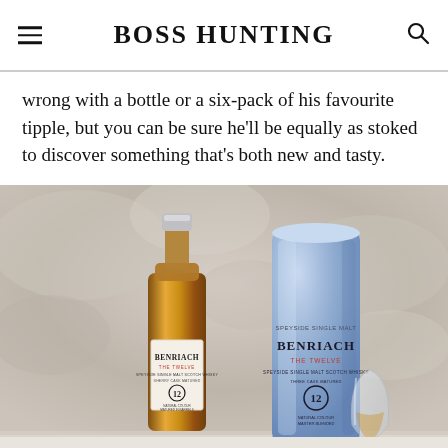BOSS HUNTING
wrong with a bottle or a six-pack of his favourite tipple, but you can be sure he'll be equally as stoked to discover something that's both new and tasty.
[Figure (photo): Product photo of Benriach The Twelve 12-year-old Speyside Single Malt Scotch Whisky bottle next to its light blue cylindrical tube packaging and a whisky glass, on a stone background]